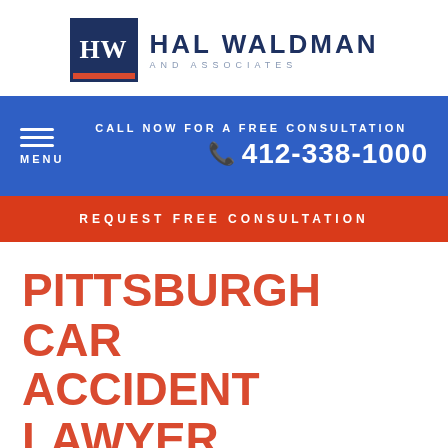[Figure (logo): Hal Waldman and Associates law firm logo with HW monogram in navy box and red underbar]
CALL NOW FOR A FREE CONSULTATION 412-338-1000 MENU
REQUEST FREE CONSULTATION
PITTSBURGH CAR ACCIDENT LAWYER